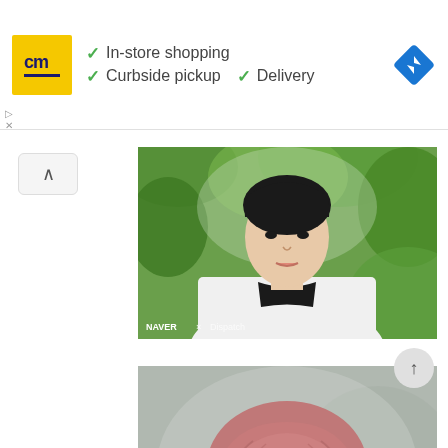[Figure (screenshot): Advertisement banner showing a yellow 'cm' logo with checkmarks listing 'In-store shopping', 'Curbside pickup', and 'Delivery', plus a blue navigation diamond icon on the right.]
[Figure (photo): Photo of a young East Asian male (appears to be a K-pop artist) with dark hair, wearing a white jacket over a black shirt, with green foliage in the background. NAVER x [brand] watermark in lower left. Photo sourced from Naver.]
[Figure (photo): Close-up photo of a young person with pink/rose-tinted bowl-cut hair, head slightly bowed, with blurred background showing yellow-green and gray tones.]